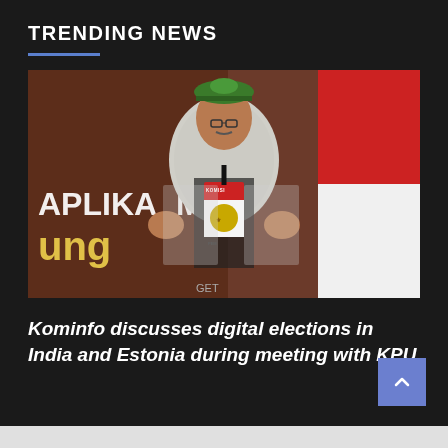TRENDING NEWS
[Figure (photo): A man wearing a green traditional hat, glasses, batik jacket, and a 'KOMISI PEMILIHAN UMUM' lanyard, gesturing with both hands while speaking at a podium. Background shows a banner with 'APLIKASI MOB' and 'ung' text, and an Indonesian flag.]
Kominfo discusses digital elections in India and Estonia during meeting with KPU